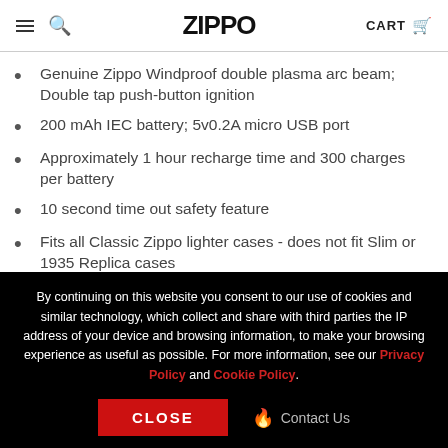ZIPPO | CART
Genuine Zippo Windproof double plasma arc beam; Double tap push-button ignition
200 mAh IEC battery; 5v0.2A micro USB port
Approximately 1 hour recharge time and 300 charges per battery
10 second time out safety feature
Fits all Classic Zippo lighter cases - does not fit Slim or 1935 Replica cases
Insert retains the famous Zippo "click" sound
By continuing on this website you consent to our use of cookies and similar technology, which collect and share with third parties the IP address of your device and browsing information, to make your browsing experience as useful as possible. For more information, see our Privacy Policy and Cookie Policy.
CLOSE | Contact Us